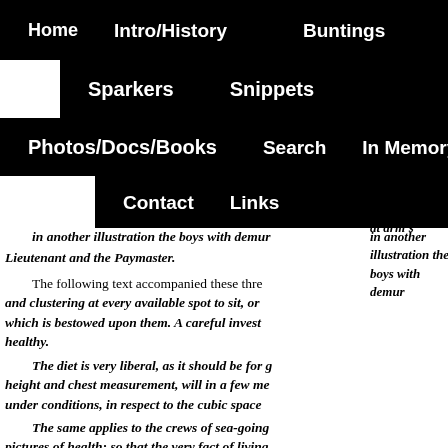Home  Intro/History  Buntings
Sparkers  Snippets
Photos/Docs/Books  Search  In Memory
Contact  Links
age affords a f... ngings. A very ... ks to the early training received... nd, ...f, a
l he has raised at arm's
In another illustration the boys with demur... Lieutenant and the Paymaster.
The following text accompanied these thre... and clustering at every available spot to sit, or... which is bestowed upon them. A careful invest... healthy.
The diet is very liberal, as it should be for g... height and chest measurement, will in a few me... under conditions, in respect to the cubic space...
The same applies to the crews of sea-going... pictures of health; so that the very fact of living... any ill-effects which might arise from overcrow... fluttering from a treble row of lines on either si... photo hangs on my study wall and is a pre Sho...